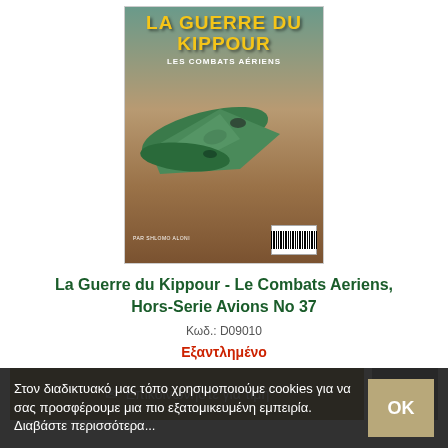[Figure (photo): Book cover of 'La Guerre du Kippour - Les Combats Aériens' by Shlomo Aloni, Hors-Serie Avions No 37, showing military aircraft (green fighter planes) in aerial combat over desert terrain.]
La Guerre du Kippour - Le Combats Aeriens, Hors-Serie Avions No 37
Κωδ.: D09010
Εξαντλημένο
✉ Επικοινωνήστε για τιμή
Στον διαδικτυακό μας τόπο χρησιμοποιούμε cookies για να σας προσφέρουμε μια πιο εξατομικευμένη εμπειρία. Διαβάστε περισσότερα...